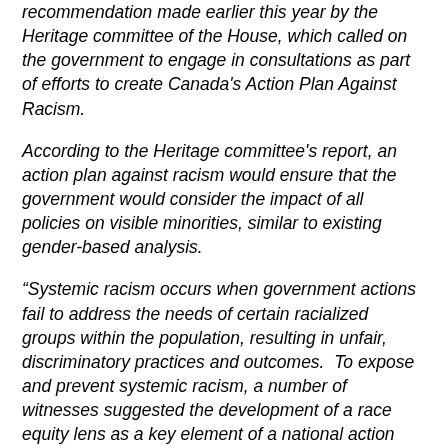recommendation made earlier this year by the Heritage committee of the House, which called on the government to engage in consultations as part of efforts to create Canada's Action Plan Against Racism.
According to the Heritage committee's report, an action plan against racism would ensure that the government would consider the impact of all policies on visible minorities, similar to existing gender-based analysis.
“Systemic racism occurs when government actions fail to address the needs of certain racialized groups within the population, resulting in unfair, discriminatory practices and outcomes.  To expose and prevent systemic racism, a number of witnesses suggested the development of a race equity lens as a key element of a national action plan,” the report said.